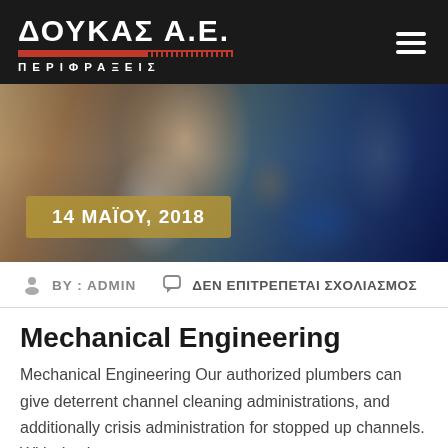ΔΟΥΚΑΣ Α.Ε. ΠΕΡΙΦΡΑΞΕΙΣ
[Figure (photo): Two workers in a mechanical engineering workshop, one wearing safety goggles and white lab coat, the other in dark clothing, working with machinery. Date badge overlay: 14 ΜΑΪΟΥ, 2018]
BY : ADMIN
ΔΕΝ ΕΠΙΤΡΕΠΕΤΑΙ ΣΧΟΛΙΑΣΜΟΣ
Mechanical Engineering
Mechanical Engineering Our authorized plumbers can give deterrent channel cleaning administrations, and additionally crisis administration for stopped up channels. With day in